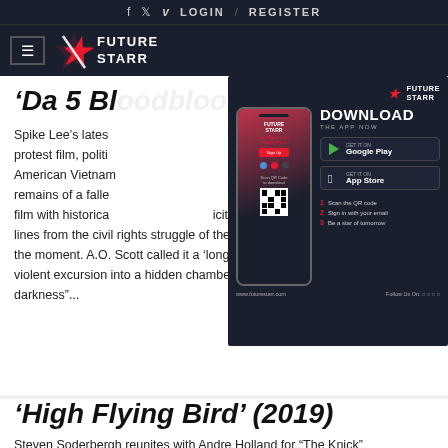f  twitter  v  LOGIN  /  REGISTER
[Figure (logo): Future Starr logo with hamburger menu icon]
'Da 5 Bl...
Spike Lee's latest... tion of war, protest film, politic... Four African-American Vietnam... to dig up the remains of a falle... er, packing the film with historical... icitly drawing lines from the civil rights struggle of the period to the protests of the moment. A.O. Scott called it a 'long, anguished, funny, violent excursion into a hidden chamber of the nation's heart of darkness"...
[Figure (screenshot): Future Starr app advertisement overlay showing DOWNLOAD THE APP NOW with Google Play and App Store buttons, QR code, and steps]
'High Flying Bird' (2019)
Steven Soderbergh reunites with Andre Holland for "The Knick"